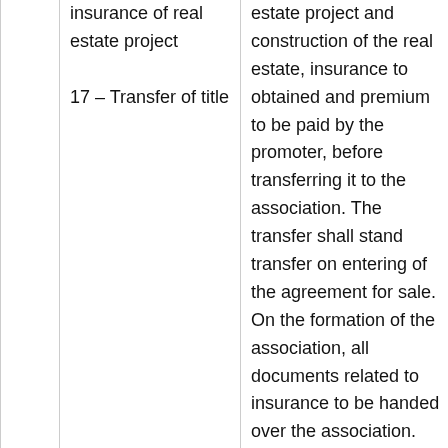insurance of real estate project
17 – Transfer of title
estate project and construction of the real estate, insurance to obtained and premium to be paid by the promoter, before transferring it to the association. The transfer shall stand transfer on entering of the agreement for sale. On the formation of the association, all documents related to insurance to be handed over the association.
Execute a registered conveyance deed in favor of the allottee along with the undivided proportionate title of the common areas to the